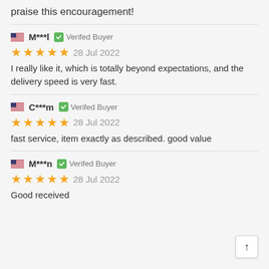praise this encouragement!
M***l  Verifed Buyer
★★★★★  28 Jul 2022
I really like it, which is totally beyond expectations, and the delivery speed is very fast.
C***m  Verifed Buyer
★★★★★  28 Jul 2022
fast service, item exactly as described. good value
M***n  Verifed Buyer
★★★★★  28 Jul 2022
Good received